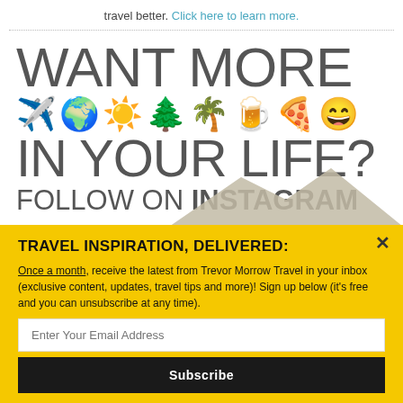travel better. Click here to learn more.
[Figure (infographic): Instagram follow banner with large text reading WANT MORE, emoji row (airplane, globe, sun, tree, palm tree, beers, pizza, smiley), IN YOUR LIFE?, FOLLOW ON INSTAGRAM, with mountain background image at bottom right]
TRAVEL INSPIRATION, DELIVERED:
Once a month, receive the latest from Trevor Morrow Travel in your inbox (exclusive content, updates, travel tips and more)! Sign up below (it's free and you can unsubscribe at any time).
Enter Your Email Address
Subscribe